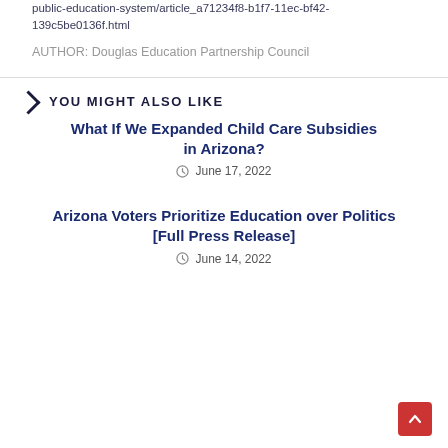public-education-system/article_a71234f8-b1f7-11ec-bf42-139c5be0136f.html
AUTHOR: Douglas Education Partnership Council
YOU MIGHT ALSO LIKE
What If We Expanded Child Care Subsidies in Arizona?
June 17, 2022
Arizona Voters Prioritize Education over Politics [Full Press Release]
June 14, 2022